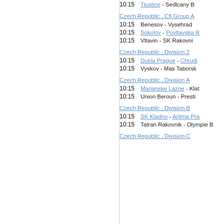10:15   Tlustice - Sedlcany B
Czech Republic , Cfl Group A
10:15   Benesov - Vysehrad
10:15   Sokolov - Povltavska R
10:15   Vltavin - SK Rakovnik
Czech Republic , Division 2
10:15   Dukla Prague - Chrudi
10:15   Vyskov - Mas Taborsk
Czech Republic , Division A
10:15   Marianske Lazne - Klat
10:15   Union Beroun - Presti
Czech Republic , Division B
10:15   SK Kladno - Aritma Pra
10:15   Tatran Rakovnik - Olympie B
Czech Republic , Division C